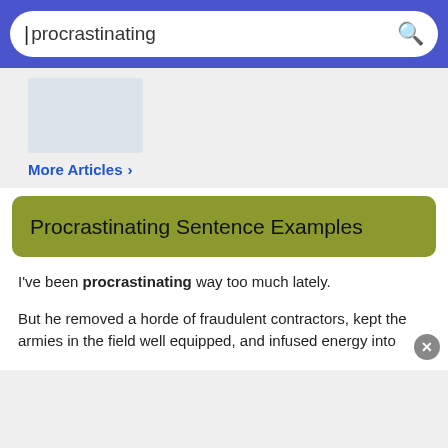[Figure (screenshot): Search bar with blue background containing the word 'procrastinating' and a search icon]
[Figure (photo): Partial article image placeholder (light gray rectangle)]
More Articles >
Procrastinating Sentence Examples
I've been procrastinating way too much lately.
But he removed a horde of fraudulent contractors, kept the armies in the field well equipped, and infused energy into